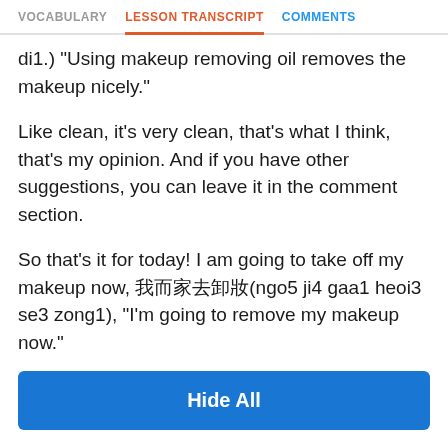VOCABULARY  |  LESSON TRANSCRIPT  |  COMMENTS
di1.) "Using makeup removing oil removes the makeup nicely."
Like clean, it's very clean, that's what I think, that's my opinion. And if you have other suggestions, you can leave it in the comment section.
So that's it for today! I am going to take off my makeup now, 我而家去卸妝(ngo5 ji4 gaa1 heoi3 se3 zong1), "I'm going to remove my makeup now."
And I will see you next time, thank you for watching! My name is Olivia, see you again, bye!
Hide All